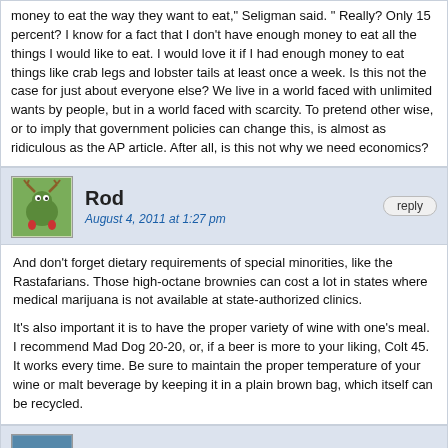money to eat the way they want to eat," Seligman said. " Really? Only 15 percent? I know for a fact that I don't have enough money to eat all the things I would like to eat. I would love it if I had enough money to eat things like crab legs and lobster tails at least once a week. Is this not the case for just about everyone else? We live in a world faced with unlimited wants by people, but in a world faced with scarcity. To pretend other wise, or to imply that government policies can change this, is almost as ridiculous as the AP article. After all, is this not why we need economics?
Rod
August 4, 2011 at 1:27 pm
reply
And don't forget dietary requirements of special minorities, like the Rastafarians. Those high-octane brownies can cost a lot in states where medical marijuana is not available at state-authorized clinics.

It's also important it is to have the proper variety of wine with one's meal. I recommend Mad Dog 20-20, or, if a beer is more to your liking, Colt 45. It works every time. Be sure to maintain the proper temperature of your wine or malt beverage by keeping it in a plain brown bag, which itself can be recycled.
Harry
August 4, 2011 at 6:21 pm
reply
I guess I am not going to go bananas over this dog- bites-man story, but bananas are cheap and rich in potassium. What this story confirms is that the wire services are brain-dead, and before anybody objects, consider the following: